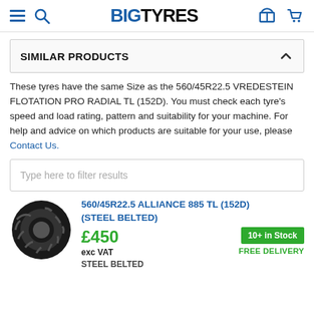BIGTYRES
SIMILAR PRODUCTS
These tyres have the same Size as the 560/45R22.5 VREDESTEIN FLOTATION PRO RADIAL TL (152D). You must check each tyre's speed and load rating, pattern and suitability for your machine. For help and advice on which products are suitable for your use, please Contact Us.
Type here to filter results
560/45R22.5 ALLIANCE 885 TL (152D) (STEEL BELTED)
£450
exc VAT
STEEL BELTED
10+ in Stock
FREE DELIVERY